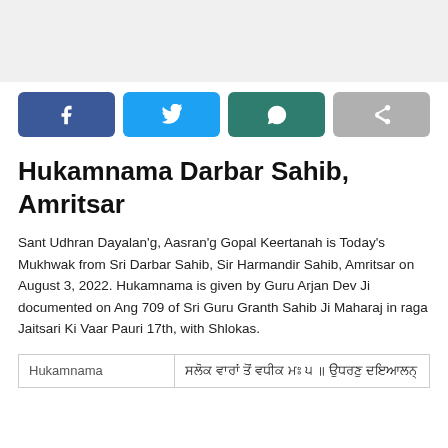[Figure (other): Gray banner area at top of page]
[Figure (infographic): Social sharing buttons row: Facebook (blue), Twitter (light blue), WhatsApp (dark teal), Share (gray)]
Hukamnama Darbar Sahib, Amritsar
Sant Udhran Dayalan'g, Aasran'g Gopal Keertanah is Today's Mukhwak from Sri Darbar Sahib, Sir Harmandir Sahib, Amritsar on August 3, 2022. Hukamnama is given by Guru Arjan Dev Ji documented on Ang 709 of Sri Guru Granth Sahib Ji Maharaj in raga Jaitsari Ki Vaar Pauri 17th, with Shlokas.
| Hukamnama | ਸਲੋਕ ਵਾਰਾਂ ਤੋਂ ਵਧੀਕ ਮਃ ੫ ॥ ਉਧਰਣੁ ਦਇਆਲਨ੍ |
| --- | --- |